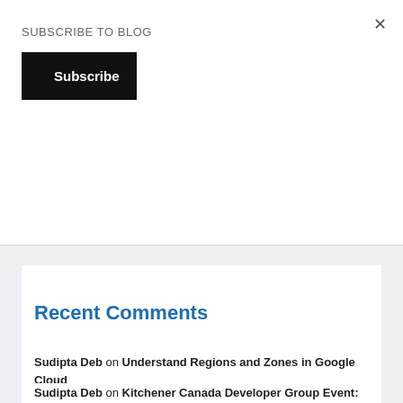×
SUBSCRIBE TO BLOG
Subscribe
Recent Comments
Sudipta Deb on Understand Regions and Zones in Google Cloud
Sudipta Deb on Kitchener Canada Developer Group Event: Orchestrate ALL of your Salesforce Automation with the Trigger Action Framework by Mitchell Spano